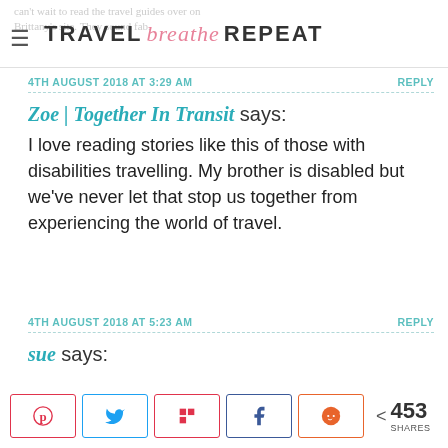TRAVEL breathe REPEAT
4TH AUGUST 2018 AT 3:29 AM    REPLY
Zoe | Together In Transit says: I love reading stories like this of those with disabilities travelling. My brother is disabled but we've never let that stop us together from experiencing the world of travel.
4TH AUGUST 2018 AT 5:23 AM    REPLY
sue says:
[Figure (infographic): Social share bar with Pinterest, Twitter, Flipboard, Facebook, Reddit buttons and 453 SHARES count]